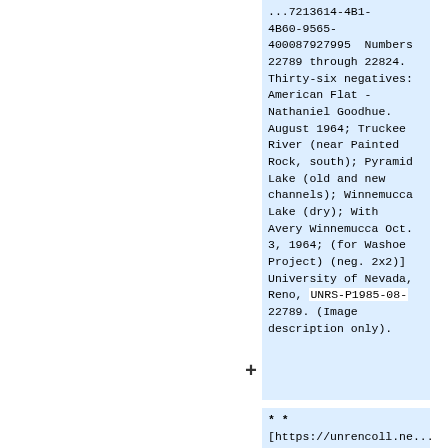...7213614-4B1-4B60-9565-400087927995  Numbers 22789 through 22824. Thirty-six negatives: American Flat - Nathaniel Goodhue. August 1964; Truckee River (near Painted Rock, south); Pyramid Lake (old and new channels); Winnemucca Lake (dry); With Avery Winnemucca Oct. 3, 1964; (for Washoe Project) (neg. 2x2)] University of Nevada, Reno, UNRS-P1985-08-22789. (Image description only).
** [https://unrencoll.ne...